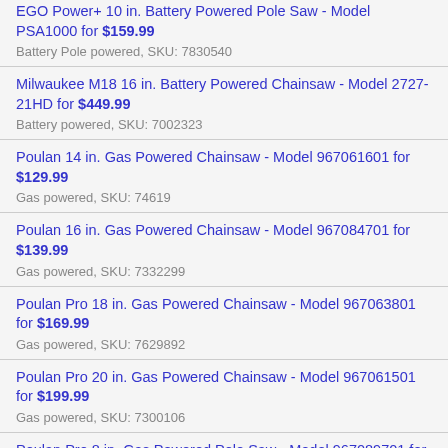EGO Power+ 10 in. Battery Powered Pole Saw - Model PSA1000 for $159.99
Battery Pole powered, SKU: 7830540
Milwaukee M18 16 in. Battery Powered Chainsaw - Model 2727-21HD for $449.99
Battery powered, SKU: 7002323
Poulan 14 in. Gas Powered Chainsaw - Model 967061601 for $129.99
Gas powered, SKU: 74619
Poulan 16 in. Gas Powered Chainsaw - Model 967084701 for $139.99
Gas powered, SKU: 7332299
Poulan Pro 18 in. Gas Powered Chainsaw - Model 967063801 for $169.99
Gas powered, SKU: 7629892
Poulan Pro 20 in. Gas Powered Chainsaw - Model 967061501 for $199.99
Gas powered, SKU: 7300106
Poulan Pro 8 in. Gas Powered Pole Saw - Model 967089701 for $179.99